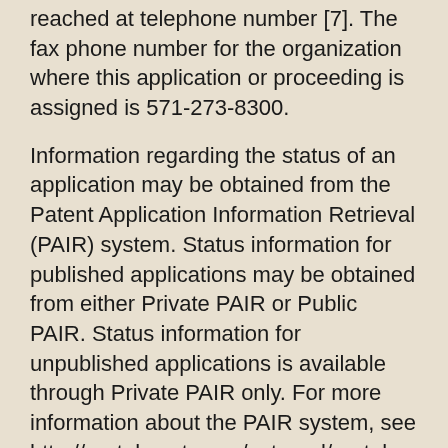reached at telephone number [7]. The fax phone number for the organization where this application or proceeding is assigned is 571-273-8300.
Information regarding the status of an application may be obtained from the Patent Application Information Retrieval (PAIR) system. Status information for published applications may be obtained from either Private PAIR or Public PAIR. Status information for unpublished applications is available through Private PAIR only. For more information about the PAIR system, see http://portal.uspto.gov/external/portal. Should you have questions about access to the Private PAIR system, contact the Electronic Business Center (EBC) at 866-217-9197 (toll-free).
Examiner interviews are available via telephone, in-person, and video conferencing using a USPTO supplied web-based collaboration tool. To schedule an interview, applicant is encouraged to use the USPTO Automated